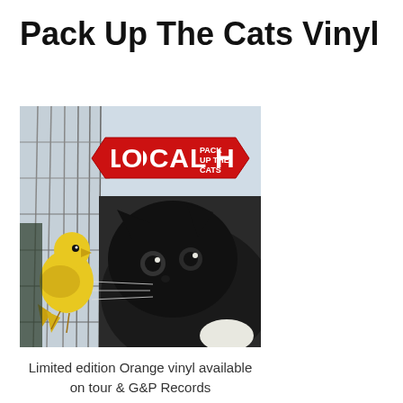Pack Up The Cats Vinyl
[Figure (photo): Album cover for Local H - Pack Up The Cats. Shows a black cat peering at a yellow canary bird in a cage. The Local H logo in a red diamond shape is in the upper left with 'PACK UP THE CATS' written in white text.]
Limited edition Orange vinyl available on tour & G&P Records